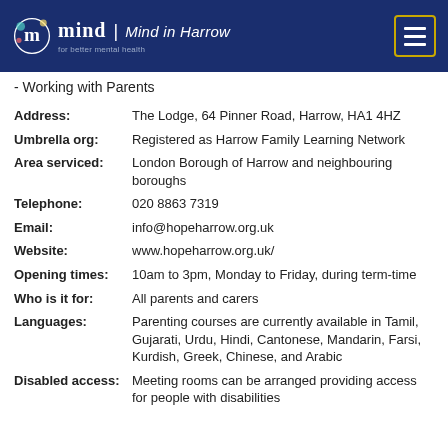Mind in Harrow
- Working with Parents
| Field | Value |
| --- | --- |
| Address: | The Lodge, 64 Pinner Road, Harrow, HA1 4HZ |
| Umbrella org: | Registered as Harrow Family Learning Network |
| Area serviced: | London Borough of Harrow and neighbouring boroughs |
| Telephone: | 020 8863 7319 |
| Email: | info@hopeharrow.org.uk |
| Website: | www.hopeharrow.org.uk/ |
| Opening times: | 10am to 3pm, Monday to Friday, during term-time |
| Who is it for: | All parents and carers |
| Languages: | Parenting courses are currently available in Tamil, Gujarati, Urdu, Hindi, Cantonese, Mandarin, Farsi, Kurdish, Greek, Chinese, and Arabic |
| Disabled access: | Meeting rooms can be arranged providing access for people with disabilities |